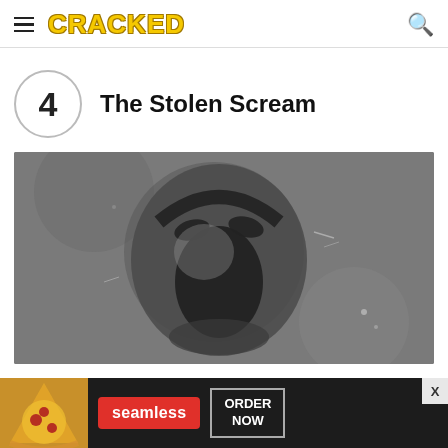CRACKED
4  The Stolen Scream
[Figure (photo): Street art photograph showing a screaming face stencilled on a concrete/asphalt surface, rendered in grey tones]
[Figure (infographic): Advertisement banner for Seamless food delivery showing pizza image on left, red Seamless logo in center, ORDER NOW button on right with close X button]